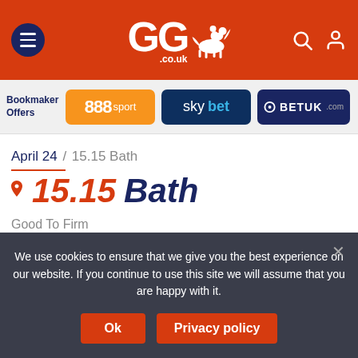GG.co.uk
[Figure (logo): GG.co.uk logo with horse and jockey icon on red header bar]
Bookmaker Offers — 888sport, sky bet, BETUK, MATCH
April 24 / 15.15 Bath
15.15  Bath
Good To Firm
Free Tips Daily On attheraces.com Handicap
Prize money: £2970  1m 3f 137y  Class 6  11 runners
We use cookies to ensure that we give you the best experience on our website. If you continue to use this site we will assume that you are happy with it.